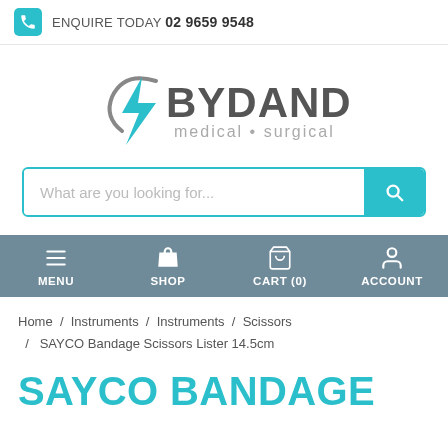ENQUIRE TODAY 02 9659 9548
[Figure (logo): Bydand Medical Surgical logo with teal lightning bolt graphic and grey/teal text]
What are you looking for...
MENU  SHOP  CART (0)  ACCOUNT
Home / Instruments / Instruments / Scissors / SAYCO Bandage Scissors Lister 14.5cm
SAYCO BANDAGE